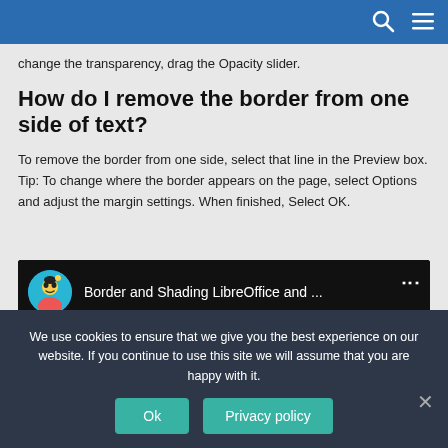change the transparency, drag the Opacity slider.
How do I remove the border from one side of text?
To remove the border from one side, select that line in the Preview box. Tip: To change where the border appears on the page, select Options and adjust the margin settings. When finished, Select OK.
[Figure (screenshot): YouTube video embed showing 'Border and Shading LibreOffice and ...' with channel avatar of an anime-style character on dark background]
We use cookies to ensure that we give you the best experience on our website. If you continue to use this site we will assume that you are happy with it.